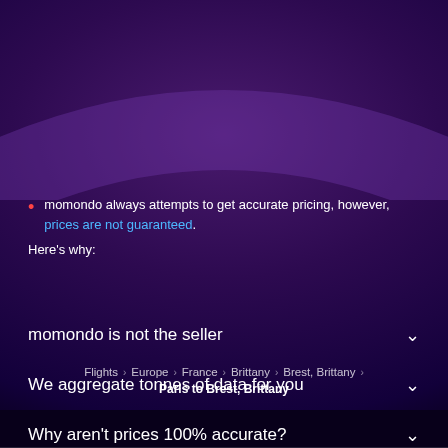momondo always attempts to get accurate pricing, however, prices are not guaranteed. Here's why:
momondo is not the seller
We aggregate tonnes of data for you
Why aren't prices 100% accurate?
Flights › Europe › France › Brittany › Brest, Brittany › Paris to Brest, Brittany